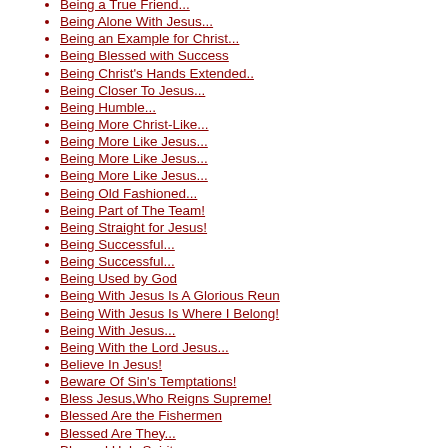Being a True Friend...
Being Alone With Jesus...
Being an Example for Christ...
Being Blessed with Success
Being Christ's Hands Extended..
Being Closer To Jesus...
Being Humble...
Being More Christ-Like...
Being More Like Jesus...
Being More Like Jesus...
Being More Like Jesus...
Being Old Fashioned...
Being Part of The Team!
Being Straight for Jesus!
Being Successful...
Being Successful...
Being Used by God
Being With Jesus Is A Glorious Reun
Being With Jesus Is Where I Belong!
Being With Jesus...
Being With the Lord Jesus...
Believe In Jesus!
Beware Of Sin's Temptations!
Bless Jesus,Who Reigns Supreme!
Blessed Are the Fishermen
Blessed Are They...
Blessed Holy Spirit...
Blessed Is He Who Fears the Lord
Blessed Is He Who Trusts in the Lor
Blessed Is He